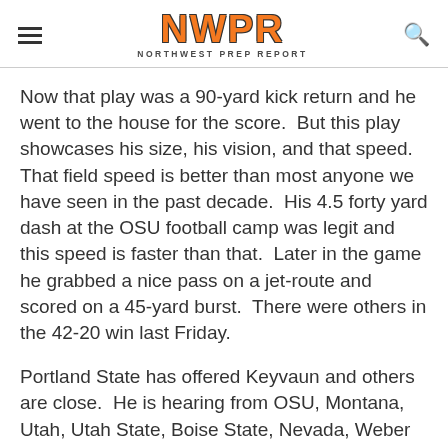NWPR NORTHWEST PREP REPORT
Now that play was a 90-yard kick return and he went to the house for the score.  But this play showcases his size, his vision, and that speed.  That field speed is better than most anyone we have seen in the past decade.  His 4.5 forty yard dash at the OSU football camp was legit and this speed is faster than that.  Later in the game he grabbed a nice pass on a jet-route and scored on a 45-yard burst.  There were others in the 42-20 win last Friday.
Portland State has offered Keyvaun and others are close.  He is hearing from OSU, Montana, Utah, Utah State, Boise State, Nevada, Weber State, and